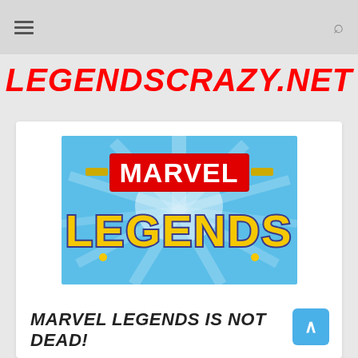≡  🔍
LEGENDSCRAZY.NET
[Figure (logo): Marvel Legends logo on blue sunburst background. Red rectangle with white MARVEL text on top, yellow LEGENDS text below with blue/grey outline.]
MARVEL LEGENDS IS NOT DEAD!